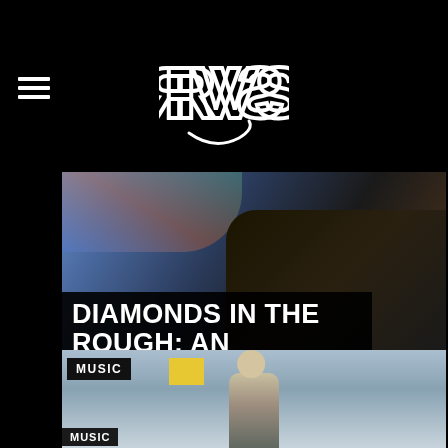RVS (logo)
[Figure (photo): Hero image showing a man's face partially visible, overlaid with a dark title block. Background shows colorful bokeh/streaks of light.]
DIAMONDS IN THE ROUGH: AN INTERVIEW WITH JONATHAN FACKA
By Andrew Bonieskie
[Figure (photo): Second article card showing a man standing outdoors under a cloudy sky, with a MUSIC category tag in the upper left corner.]